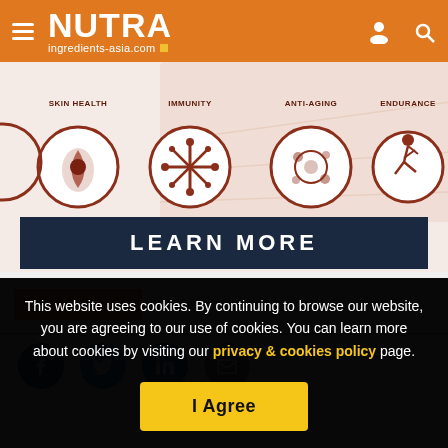NUTRA ingredients-asia.com
[Figure (illustration): Banner showing health benefit icons: Skin Health, Immunity, Anti-Aging, Endurance in circular badge style with dark red borders on a light background]
[Figure (illustration): LEARN MORE button bar in dark navy blue with white bold uppercase text]
FOLLOW US
[Figure (illustration): Social media icons row: Facebook (blue), Twitter (light blue), LinkedIn (dark blue), Email (gray)]
This website uses cookies. By continuing to browse our website, you are agreeing to our use of cookies. You can learn more about cookies by visiting our privacy & cookies policy page.